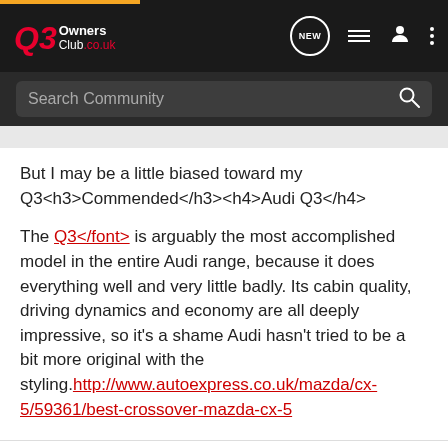Q3 Owners Club .co.uk
But I may be a little biased toward my Q3<h3>Commended</h3><h4>Audi Q3</h4>
The Q3</font> is arguably the most accomplished model in the entire Audi range, because it does everything well and very little badly. Its cabin quality, driving dynamics and economy are all deeply impressive, so it's a shame Audi hasn't tried to be a bit more original with the styling.http://www.autoexpress.co.uk/mazda/cx-5/59361/best-crossover-mazda-cx-5
Driving my 3rd Q3 a 2019 FL FL S line+ TFSI 40 quattro Stronic in